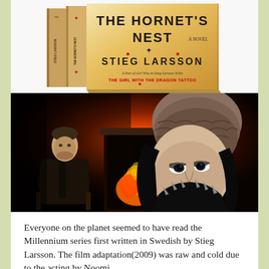[Figure (photo): Book covers of The Hornet's Nest by Stieg Larsson, showing boxed set with multiple volumes, golden/orange cover design]
[Figure (photo): Movie still from the Millennium series film adaptation showing a man seated by a fireplace and a young woman in dark clothing with a beanie hat in the foreground]
Everyone on the planet seemed to have read the Millennium series first written in Swedish by Stieg Larsson. The film adaptation(2009) was raw and cold due to the acting by Noomi